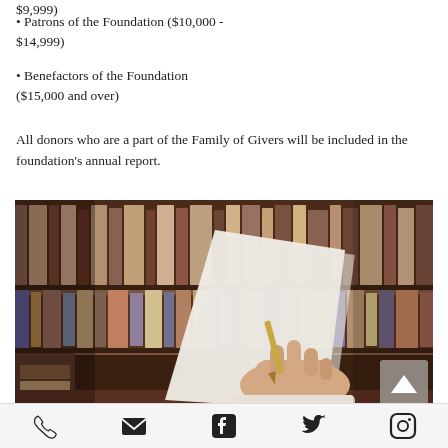$9,999)
Patrons of the Foundation ($10,000 - $14,999)
Benefactors of the Foundation ($15,000 and over)
All donors who are a part of the Family of Givers will be included in the foundation's annual report.
[Figure (photo): A hand holding a pen over papers with bookshelves in the background — a library/writing scene]
Phone, Email, Facebook, Twitter, Instagram social media icons